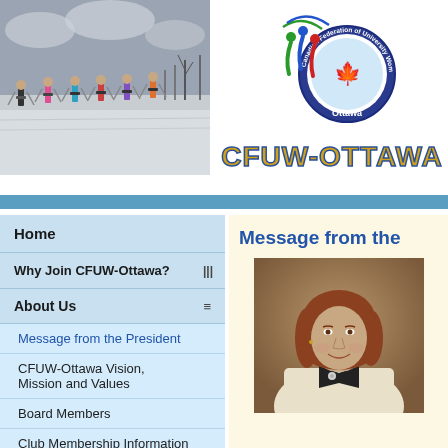[Figure (photo): Group of six women on cross-country skis in winter landscape with bare trees]
[Figure (logo): CFUW-Ottawa logo: circular emblem with text 'Canadian Federation of University Women' around the outside, 'Ottawa' at bottom, maple leaf in center, colored swoosh figures on left side, with bold yellow text 'CFUW-OTTAWA' below]
Home
Why Join CFUW-Ottawa?
About Us
Message from the President
CFUW-Ottawa Vision, Mission and Values
Board Members
Club Membership Information Brochure
CFUW-Ottawa Logo
Awards
Message from the
[Figure (photo): Portrait photo of a woman with reddish-brown shoulder-length hair wearing a light-colored jacket, smiling, against a warm brown background]